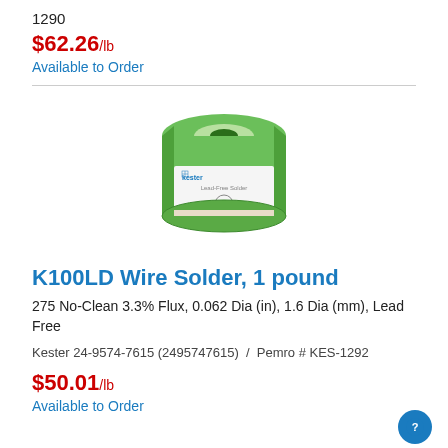1290
$62.26/lb
Available to Order
[Figure (photo): Kester lead-free solder spool in green packaging with label showing 'kester Lead-Free Solder Pb']
K100LD Wire Solder, 1 pound
275 No-Clean 3.3% Flux, 0.062 Dia (in), 1.6 Dia (mm), Lead Free
Kester 24-9574-7615 (2495747615)  /  Pemro # KES-1292
$50.01/lb
Available to Order